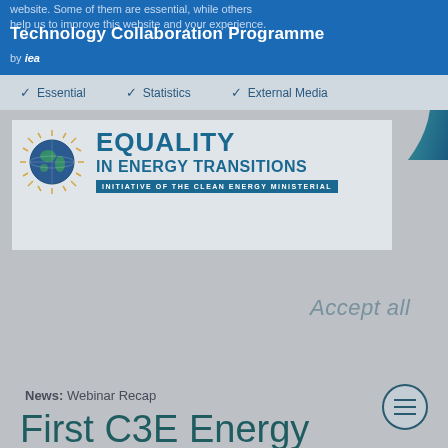Technology Collaboration Programme by iea
website. Some of them are essential, while others help us to improve this website and your experience.
✓ Essential   ✓ Statistics   ✓ External Media
[Figure (logo): Equality in Energy Transitions – Initiative of the Clean Energy Ministerial logo with globe icon]
Accept all
News: Webinar Recap
First C3E Energy Breakfast in Austria: Prejudice, lack of recognition, and gender inequality are one of the...